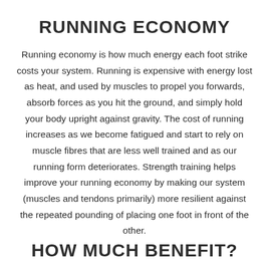RUNNING ECONOMY
Running economy is how much energy each foot strike costs your system. Running is expensive with energy lost as heat, and used by muscles to propel you forwards, absorb forces as you hit the ground, and simply hold your body upright against gravity. The cost of running increases as we become fatigued and start to rely on muscle fibres that are less well trained and as our running form deteriorates. Strength training helps improve your running economy by making our system (muscles and tendons primarily) more resilient against the repeated pounding of placing one foot in front of the other.
HOW MUCH BENEFIT?